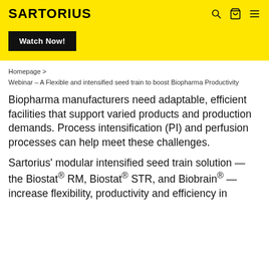SARTORIUS
[Figure (screenshot): Watch Now! button on yellow background]
Homepage >
Webinar – A Flexible and intensified seed train to boost Biopharma Productivity
Biopharma manufacturers need adaptable, efficient facilities that support varied products and production demands. Process intensification (PI) and perfusion processes can help meet these challenges.
Sartorius' modular intensified seed train solution — the Biostat® RM, Biostat® STR, and Biobrain® — increase flexibility, productivity and efficiency in